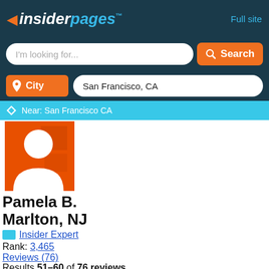insiderpages™  Full site
I'm looking for...
City  San Francisco, CA
Near: San Francisco CA
[Figure (illustration): Orange square profile avatar with white silhouette (circle head, body shape)]
Pamela B.
Marlton, NJ
Insider Expert
Rank: 3,465
Reviews (76)
Results 51–60 of 76 reviews
[Figure (other): Five star rating (all filled orange stars)]